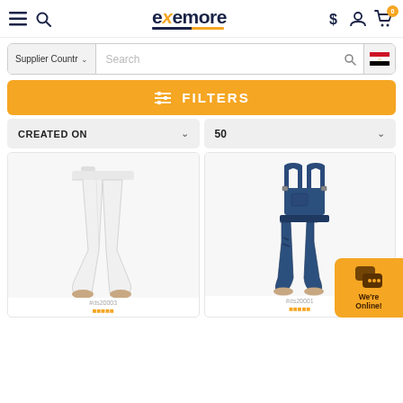[Figure (screenshot): Exemore e-commerce website header with navigation icons (menu, search, logo, currency, account, cart with badge 0)]
[Figure (screenshot): Search bar with Supplier Country dropdown and Egyptian flag, and orange FILTERS button]
CREATED ON
50
[Figure (photo): White skinny jeans on a mannequin, product code #ds20003]
[Figure (photo): Dark denim dungaree overalls on a mannequin, product code #ds20001]
[Figure (illustration): Orange chat widget with speech bubble icon and 'We're Online!' text]